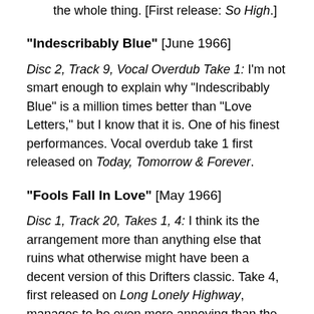master. Elvis sounds weaker. Again, hard to sit through the whole thing. [First release: So High.]
"Indescribably Blue" [June 1966]
Disc 2, Track 9, Vocal Overdub Take 1: I'm not smart enough to explain why “Indescribably Blue” is a million times better than “Love Letters,” but I know that it is. One of his finest performances. Vocal overdub take 1 first released on Today, Tomorrow & Forever.
"Fools Fall In Love" [May 1966]
Disc 1, Track 20, Takes 1, 4: I think its the arrangement more than anything else that ruins what otherwise might have been a decent version of this Drifters classic. Take 4, first released on Long Lonely Highway, manages to be even more annoying than the master by including what sounds like “jingle bells” type sleigh bells in the mix. This